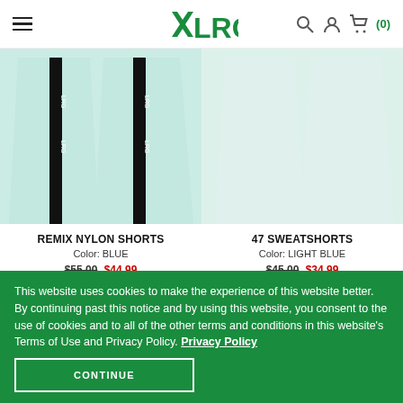LRG — navigation header with hamburger menu, LRG logo, search, account, and cart icons
[Figure (photo): Two pairs of shorts shown cropped at the hem. Left: mint/light blue Remix Nylon Shorts with black LRG tape stripe on side. Right: white/light blue 47 Sweatshorts.]
REMIX NYLON SHORTS
Color: BLUE
$55.00 $44.99
47 SWEATSHORTS
Color: LIGHT BLUE
$45.00 $34.99
This website uses cookies to make the experience of this website better. By continuing past this notice and by using this website, you consent to the use of cookies and to all of the other terms and conditions in this website's Terms of Use and Privacy Policy. Privacy Policy
CONTINUE